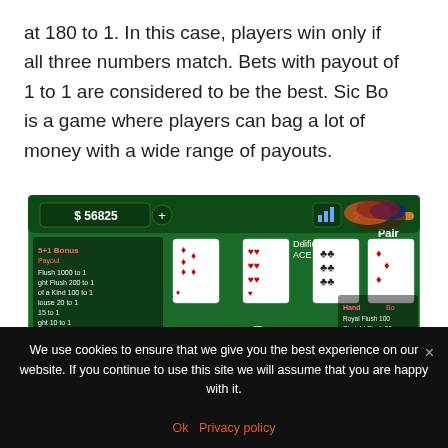at 180 to 1. In this case, players win only if all three numbers match. Bets with payout of 1 to 1 are considered to be the best. Sic Bo is a game where players can bag a lot of money with a wide range of payouts.
[Figure (screenshot): Screenshot of Caribbean Stud Poker online casino game showing a green felt table with playing cards, poker chips, $56825 balance, $8000 win display, payout table, and 'CARIBBEAN STUD' logo with a palm tree graphic.]
We use cookies to ensure that we give you the best experience on our website. If you continue to use this site we will assume that you are happy with it.
Ok   Privacy policy